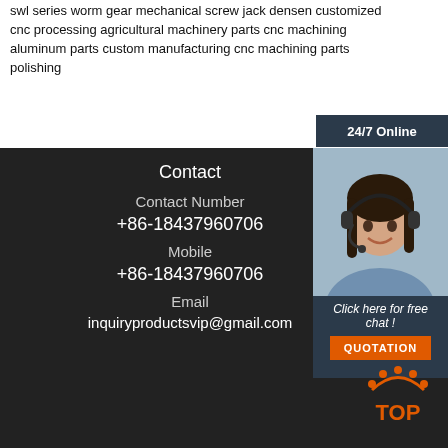swl series worm gear mechanical screw jack densen customized cnc processing agricultural machinery parts cnc machining aluminum parts custom manufacturing cnc machining parts polishing
24/7 Online
[Figure (photo): Customer service representative with headset smiling]
Click here for free chat !
QUOTATION
Contact
Contact Number
+86-18437960706
Mobile
+86-18437960706
Email
inquiryproductsvip@gmail.com
[Figure (logo): TOP logo with orange arc and dots above the word TOP in orange]